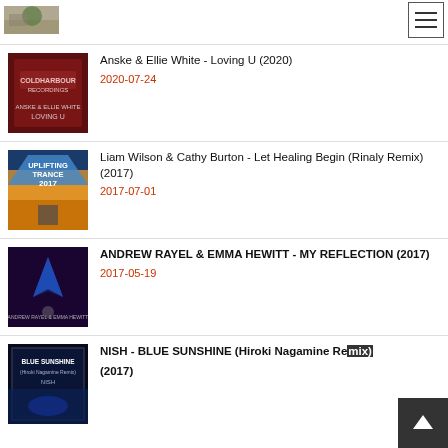[Figure (photo): Partial album art thumbnail at top left, green plant/nature image]
[Figure (other): Hamburger menu icon button, top right]
Anske & Ellie White - Loving U (2020)
2020-07-24
[Figure (photo): Album art for Anske & Ellie White - Loving U, Coldharbour Recordings red label]
Liam Wilson & Cathy Burton - Let Healing Begin (Rinaly Remix) (2017)
2017-07-01
[Figure (photo): Album art for Uplifting Trance 2017 compilation, landscape with mountains]
ANDREW RAYEL & EMMA HEWITT - MY REFLECTION (2017)
2017-05-19
[Figure (photo): Album art for Andrew Rayel & Emma Hewitt - My Reflection, dark purple with glowing A logo]
NISH - BLUE SUNSHINE (Hiroki Nagamine Remix) (2017)